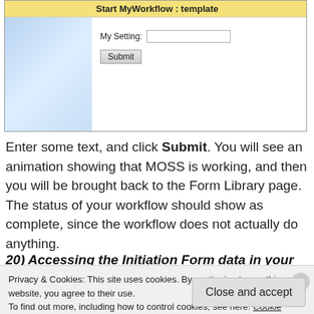[Figure (screenshot): Screenshot of a SharePoint/MOSS workflow initiation form titled 'Start MyWorkflow : template' with a 'My Setting:' text input field and a Submit button]
Enter some text, and click Submit. You will see an animation showing that MOSS is working, and then you will be brought back to the Form Library page. The status of your workflow should show as complete, since the workflow does not actually do anything.
20) Accessing the Initiation Form data in your
Privacy & Cookies: This site uses cookies. By continuing to use this website, you agree to their use.
To find out more, including how to control cookies, see here: Cookie Policy